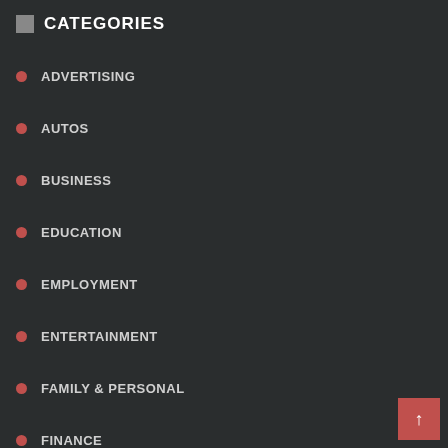CATEGORIES
ADVERTISING
AUTOS
BUSINESS
EDUCATION
EMPLOYMENT
ENTERTAINMENT
FAMILY & PERSONAL
FINANCE
FOOD